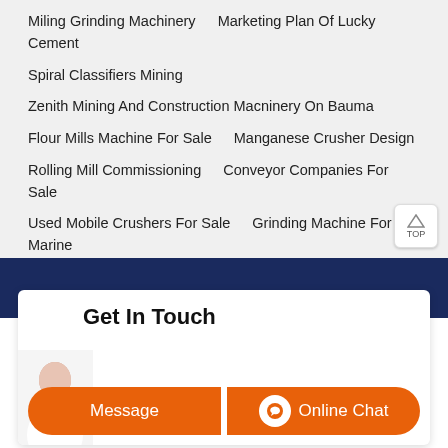Miling Grinding Machinery    Marketing Plan Of Lucky Cement
Spiral Classifiers Mining
Zenith Mining And Construction Macninery On Bauma
Flour Mills Machine For Sale    Manganese Crusher Design
Rolling Mill Commissioning    Conveyor Companies For Sale
Used Mobile Crushers For Sale    Grinding Machine For Marine
Calculation Of Tph Of Stone Crusher Plant Samac
Get In Touch
Message
Online Chat